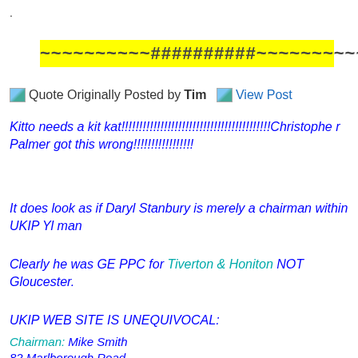.
~~~~~~~~~~##########~~~~~~~~~~
Quote Originally Posted by Tim  View Post
Kitto needs a kit kat!!!!!!!!!!!!!!!!!!!!!!!!!!!!!!!!!!!!!!!!!!Christophe r Palmer got this wrong!!!!!!!!!!!!!!!!!
It does look as if Daryl Stanbury is merely a chairman within UKIP Yl man
Clearly he was GE PPC for Tiverton & Honiton NOT Gloucester.
UKIP WEB SITE IS UNEQUIVOCAL:
Chairman: Mike Smith
82 Marlborough Road
Gloucester GL4 6GD